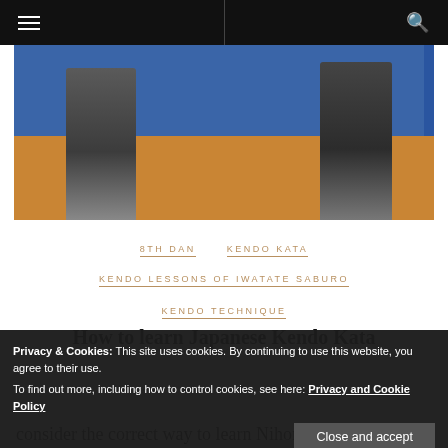≡  [nav bar with hamburger menu and search icon]
[Figure (photo): Two kendo practitioners in traditional hakama and keikogi facing each other on a gymnasium floor with blue background/seating behind them]
8TH DAN   KENDO KATA
KENDO LESSONS OF IWATATE SABURO
KENDO TECHNIQUE
How to learn Japanese Kendo Kata
Privacy & Cookies: This site uses cookies. By continuing to use this website, you agree to their use.
To find out more, including how to control cookies, see here: Privacy and Cookie Policy
Close and accept
consider the correct way to learn Nihon Kendo